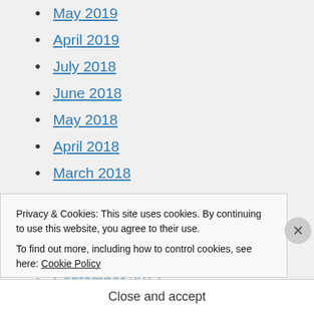May 2019
April 2019
July 2018
June 2018
May 2018
April 2018
March 2018
February 2018
January 2018
October 2017
September 2017
Privacy & Cookies: This site uses cookies. By continuing to use this website, you agree to their use. To find out more, including how to control cookies, see here: Cookie Policy
Close and accept